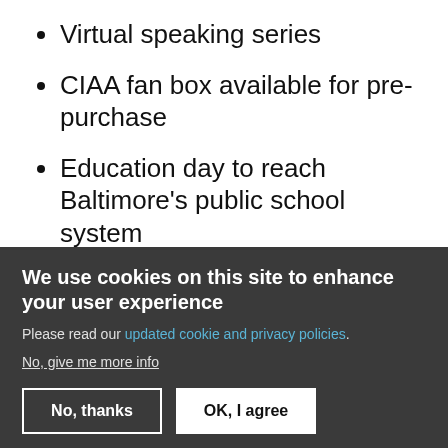Virtual speaking series
CIAA fan box available for pre-purchase
Education day to reach Baltimore's public school system
Career expo
Esports tournament
We use cookies on this site to enhance your user experience
Please read our updated cookie and privacy policies.
No, give me more info
No, thanks
OK, I agree